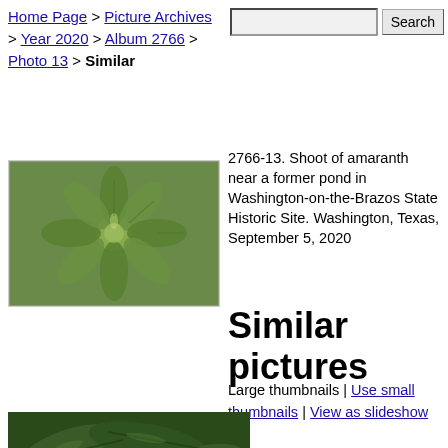Home Page > Picture Archives > Year 2020 > Album 2766 > Photo 13 > Similar
2766-13. Shoot of amaranth near a former pond in Washington-on-the-Brazos State Historic Site. Washington, Texas, September 5, 2020
[Figure (photo): Top-down view of an amaranth plant shoot with green leaves radiating from center]
Similar pictures
Large thumbnails | Use small thumbnails | View as slideshow
[Figure (photo): Close-up photo of dark green leaves of amaranth plant]